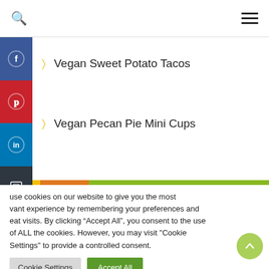Search | Menu
Vegan Sweet Potato Tacos
Vegan Pecan Pie Mini Cups
use cookies on our website to give you the most vant experience by remembering your preferences and eat visits. By clicking “Accept All”, you consent to the use of ALL the cookies. However, you may visit "Cookie Settings" to provide a controlled consent.
Cookie Settings | Accept All